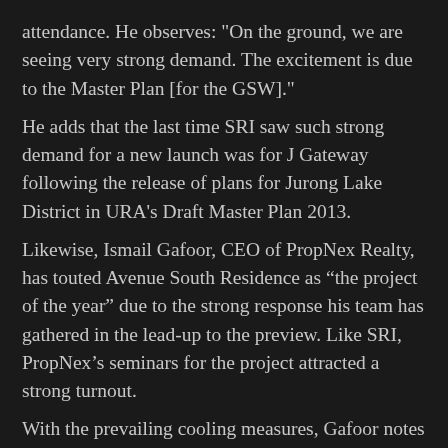attendance. He observes: "On the ground, we are seeing very strong demand. The excitement is due to the Master Plan [for the GSW]."
He adds that the last time SRI saw such strong demand for a new launch was for J Gateway following the release of plans for Jurong Lake District in URA's Draft Master Plan 2013.
Likewise, Ismail Gafoor, CEO of PropNex Realty, has touted Avenue South Residence as “the project of the year” due to the strong response his team has gathered in the lead-up to the preview. Like SRI, PropNex’s seminars for the project attracted a strong turnout.
With the prevailing cooling measures, Gafoor notes that buyers are more discerning and are looking for projects that present an upside: "Launches near downtown like Sky Everton also sold very well, and the demand for this area is very strong." Furthermore, in general, new launch sales were about 6.1% more in 1H2019 than in 1H2018, despite